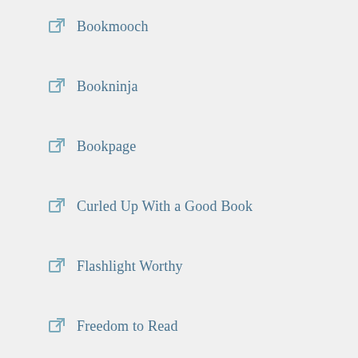Bookmooch
Bookninja
Bookpage
Curled Up With a Good Book
Flashlight Worthy
Freedom to Read
Good Reads
Guardian Books
Library Thing
Litsy
London Review of Books
Monster Librarian
Quill & Quire
Salon Books